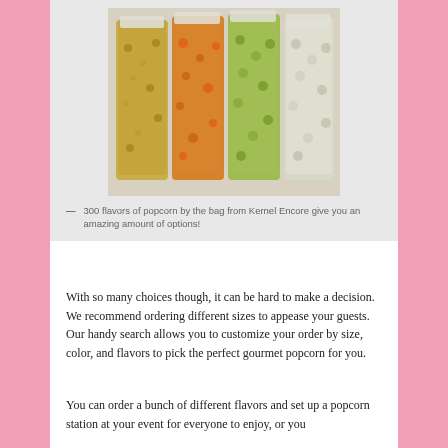[Figure (photo): Four large clear plastic bags filled with different flavors of popcorn arranged side by side: golden/butter, cheddar/orange mix, green/lime flavored, and white/plain varieties]
— 300 flavors of popcorn by the bag from Kernel Encore give you an amazing amount of options!
With so many choices though, it can be hard to make a decision. We recommend ordering different sizes to appease your guests. Our handy search allows you to customize your order by size, color, and flavors to pick the perfect gourmet popcorn for you.
You can order a bunch of different flavors and set up a popcorn station at your event for everyone to enjoy, or you